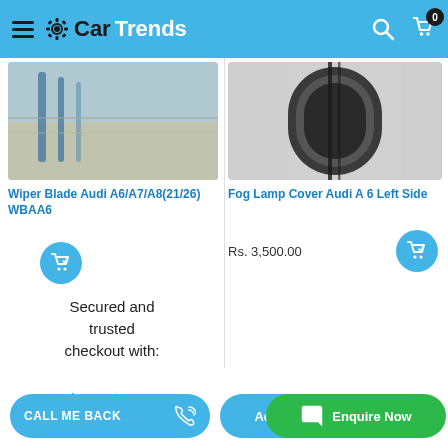CarTrends
[Figure (photo): Wiper blade car part product photo showing blue wiper blades]
Wiper Blade Audi A6/A7/A8(21/26) WBAA6
[Figure (photo): Fog lamp cover car part product photo showing black circular lamp cover]
Fog Lamp Cover Audi A 6 Left Side
Rs. 3,500.00
Secured and trusted checkout with:
[Figure (logo): Paytm Payments Bank logo]
CALL ME BACK
Add to
Enquire Now